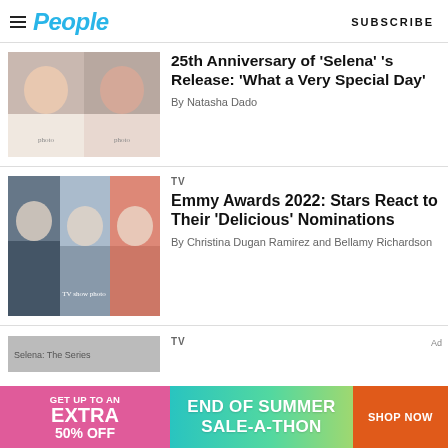People | SUBSCRIBE
[Figure (photo): Two women smiling, side by side photo collage]
25th Anniversary of ‘Selena’s Release: ‘What a Very Special Day’
By Natasha Dado
[Figure (photo): Three men in a collage from a TV show]
TV
Emmy Awards 2022: Stars React to Their ‘Delicious’ Nominations
By Christina Dugan Ramirez and Bellamy Richardson
[Figure (photo): Partial image: Selena The Series]
TV
[Figure (infographic): Ad banner: GET UP TO AN EXTRA 50% OFF | END OF SUMMER SALE-A-THON | SHOP NOW]